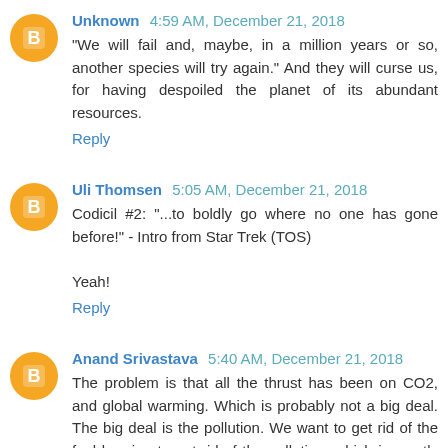Unknown 4:59 AM, December 21, 2018
"We will fail and, maybe, in a million years or so, another species will try again." And they will curse us, for having despoiled the planet of its abundant resources.
Reply
Uli Thomsen 5:05 AM, December 21, 2018
Codicil #2: "...to boldly go where no one has gone before!" - Intro from Star Trek (TOS)

Yeah!
Reply
Anand Srivastava 5:40 AM, December 21, 2018
The problem is that all the thrust has been on CO2, and global warming. Which is probably not a big deal. The big deal is the pollution. We want to get rid of the fuel burning to get rid of the pollution, which is mostly CO2, but a very